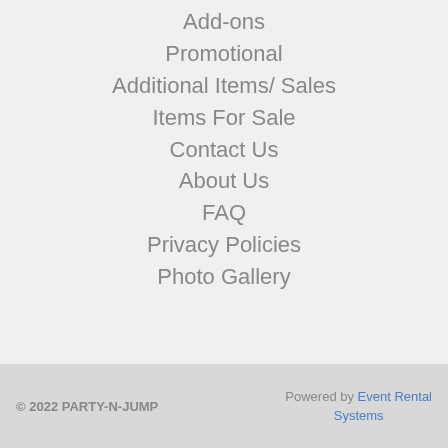Add-ons
Promotional
Additional Items/ Sales
Items For Sale
Contact Us
About Us
FAQ
Privacy Policies
Photo Gallery
© 2022 PARTY-N-JUMP   Powered by Event Rental Systems